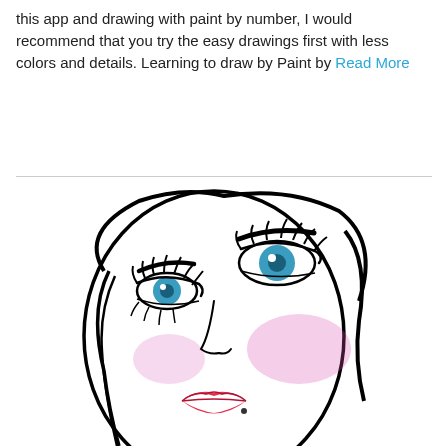this app and drawing with paint by number, I would recommend that you try the easy drawings first with less colors and details. Learning to draw by Paint by Read More
[Figure (illustration): Stylized illustration of a woman's face with blue eyes, long eyelashes, dark eyebrows, pink blush on cheeks, and red lips. The face is drawn in a fashion illustration style with black outlines on white background.]